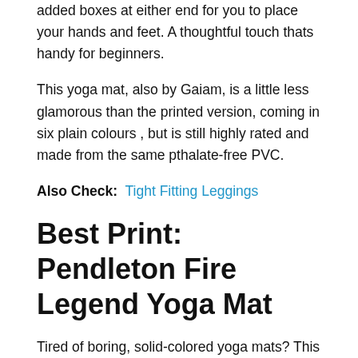added boxes at either end for you to place your hands and feet. A thoughtful touch thats handy for beginners.
This yoga mat, also by Gaiam, is a little less glamorous than the printed version, coming in six plain colours , but is still highly rated and made from the same pthalate-free PVC.
Also Check:  Tight Fitting Leggings
Best Print: Pendleton Fire Legend Yoga Mat
Tired of boring, solid-colored yoga mats? This Aztec-inspired print is unlike anything weve seen on any piece of workout equipment before, a seriously stylish statement. And its not only pretty, but also practical, made of eco-friendly, latex-free materials, easy to wipe clean, and weighing in at just two and